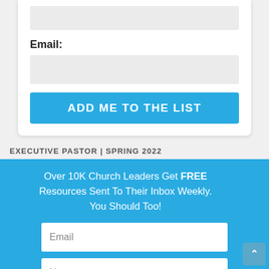Email:
[Figure (screenshot): Input field for email address (gray background)]
[Figure (screenshot): Button: ADD ME TO THE LIST (blue background, white text)]
EXECUTIVE PASTOR | SPRING 2022
[Figure (screenshot): Popup overlay with blue background containing: headline 'Over 10K Church Leaders Get FREE Resources Sent To Their Inbox Weekly. You Should Too!', Email input, Name input, SIGN ME UP button in red, close X button]